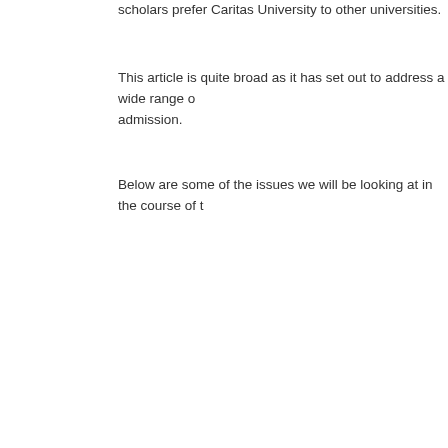scholars prefer Caritas University to other universities.
This article is quite broad as it has set out to address a wide range of... admission.
Below are some of the issues we will be looking at in the course of th...
[Figure (photo): Photo of colorful flags (red, blue, yellow) with overlaid text reading 'Admi...' 'SCREE...' and 'www.scho...' — an admission screening graphic from a university scholarship website.]